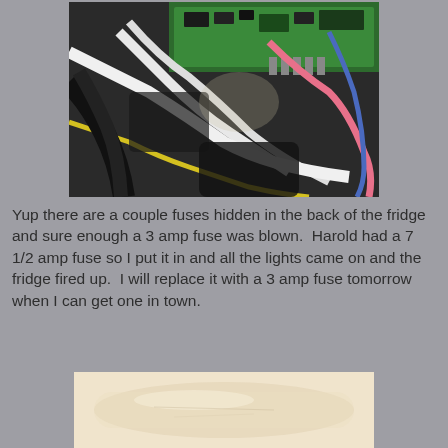[Figure (photo): Close-up photo of the back of a refrigerator showing electronic control board (green PCB) with wires connected, including white, pink, yellow, and blue wires bundled together.]
Yup there are a couple fuses hidden in the back of the fridge and sure enough a 3 amp fuse was blown.  Harold had a 7 1/2 amp fuse so I put it in and all the lights came on and the fridge fired up.  I will replace it with a 3 amp fuse tomorrow when I can get one in town.
[Figure (photo): Partial photo of a light beige or white cylindrical or flat object, possibly the fuse or fuse holder, with a warm light background.]